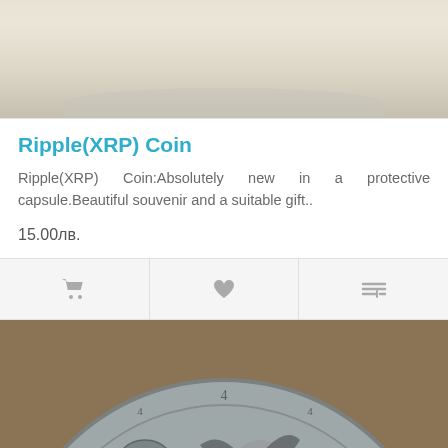[Figure (photo): Top portion of a coin in a protective capsule, cream/white background, partial view of coin edge]
Ripple(XRP) Coin
Ripple(XRP) Coin:Absolutely new in a protective capsule.Beautiful souvenir and a suitable gift..
15.00лв.
[Figure (photo): Silver/grey medallion coin showing a centaur archer (Sagittarius) with bow and arrow, surrounded by Jupiter symbols (4 with circle), planetary/astrological motifs, detailed relief sculpture on tan/brown background]